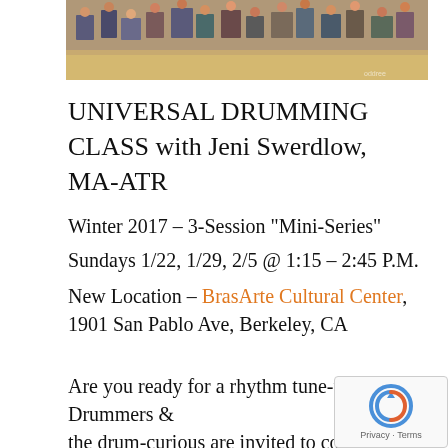[Figure (photo): Photo of people sitting on folding chairs in a large hall, apparently at a drumming event or class]
UNIVERSAL DRUMMING CLASS with Jeni Swerdlow, MA-ATR
Winter 2017 – 3-Session "Mini-Series"
Sundays 1/22, 1/29, 2/5 @ 1:15 – 2:45 P.M.
New Location – BrasArte Cultural Center, 1901 San Pablo Ave, Berkeley, CA
Are you ready for a rhythm tune-up? Drummers & the drum-curious are invited to come together through universal rhythms & global grooves with